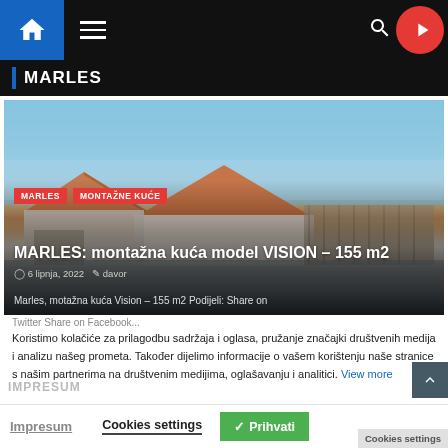MARLES — navigation header with home, menu, search, play icons
MARLES
[Figure (photo): Article card showing a modern prefabricated house with orange tile roof, white walls and slatted pergola structure, at dusk/twilight. Overlaid with category tags MARLES and MONTAŽNE KUĆE, article title 'MARLES: montažna kuća model VISION – 155 m2', date '6 lipnja, 2022', author 'davor', and excerpt text 'Marles, motažna kuća Vision – 155 m2 Podijeli: Share on']
Twitter Share on Facebook...
Koristimo kolačiće za prilagodbu sadržaja i oglasa, pružanje značajki društvenih medija i analizu našeg prometa. Također dijelimo informacije o vašem korištenju naše stranice s našim partnerima na društvenim medijima, oglašavanju i analitici. View more
Impresum
Impresum   Cookies settings   ✓ Prihvati   Cookies settings